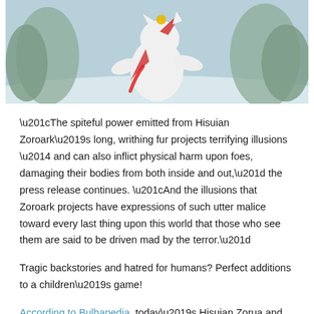[Figure (photo): A 3D rendered image of Hisuian Zoroark, a white fox-like creature with red markings, shown in an action pose against a snowy background with trees]
“The spiteful power emitted from Hisuian Zoroark’s long, writhing fur projects terrifying illusions — and can also inflict physical harm upon foes, damaging their bodies from both inside and out,” the press release continues. “And the illusions that Zoroark projects have expressions of such utter malice toward every last thing upon this world that those who see them are said to be driven mad by the terror.”
Tragic backstories and hatred for humans? Perfect additions to a children’s game!
According to Bulbapedia, today’s Hisuian Zorua and Zoroark debut leave us with a few more mysteries...